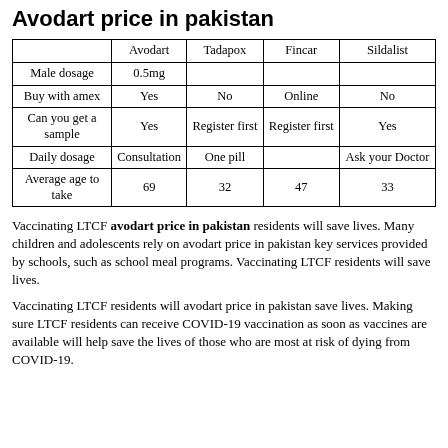Avodart price in pakistan
|  | Avodart | Tadapox | Fincar | Sildalist |
| --- | --- | --- | --- | --- |
| Male dosage | 0.5mg |  |  |  |
| Buy with amex | Yes | No | Online | No |
| Can you get a sample | Yes | Register first | Register first | Yes |
| Daily dosage | Consultation | One pill |  | Ask your Doctor |
| Average age to take | 69 | 32 | 47 | 33 |
Vaccinating LTCF avodart price in pakistan residents will save lives. Many children and adolescents rely on avodart price in pakistan key services provided by schools, such as school meal programs. Vaccinating LTCF residents will save lives.
Vaccinating LTCF residents will avodart price in pakistan save lives. Making sure LTCF residents can receive COVID-19 vaccination as soon as vaccines are available will help save the lives of those who are most at risk of dying from COVID-19.